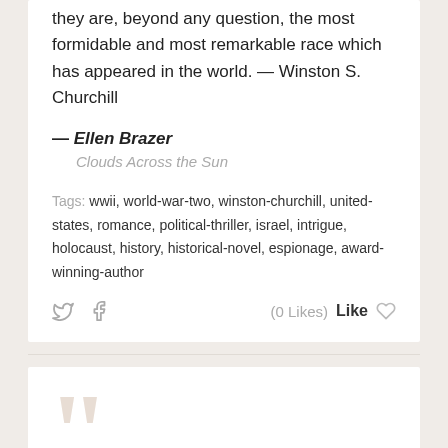But no thoughtful man can deny the fact that they are, beyond any question, the most formidable and most remarkable race which has appeared in the world. — Winston S. Churchill
— Ellen Brazer
Clouds Across the Sun
Tags: wwii, world-war-two, winston-churchill, united-states, romance, political-thriller, israel, intrigue, holocaust, history, historical-novel, espionage, award-winning-author
(0 Likes)  Like
In the time that we're here today, more